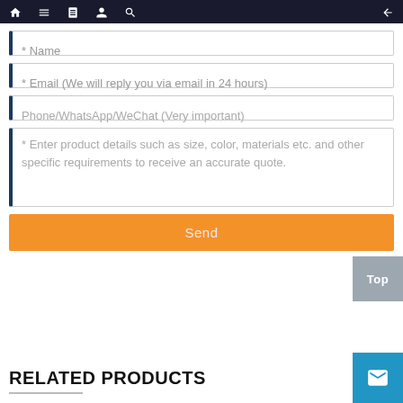[Figure (screenshot): Navigation bar with home, menu, book, user, search icons on dark background and back arrow on right]
* Name
* Email (We will reply you via email in 24 hours)
Phone/WhatsApp/WeChat (Very important)
* Enter product details such as size, color, materials etc. and other specific requirements to receive an accurate quote.
Send
Top
RELATED PRODUCTS